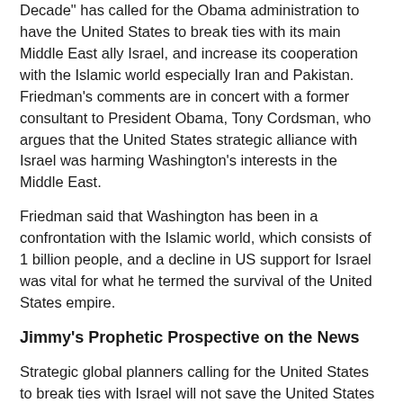Decade" has called for the Obama administration to have the United States to break ties with its main Middle East ally Israel, and increase its cooperation with the Islamic world especially Iran and Pakistan. Friedman's comments are in concert with a former consultant to President Obama, Tony Cordsman, who argues that the United States strategic alliance with Israel was harming Washington's interests in the Middle East.
Friedman said that Washington has been in a confrontation with the Islamic world, which consists of 1 billion people, and a decline in US support for Israel was vital for what he termed the survival of the United States empire.
Jimmy's Prophetic Prospective on the News
Strategic global planners calling for the United States to break ties with Israel will not save the United States empire as they believe but will do the opposite according to Bible prophecy.
George Friedman and Tony Cordsman, both not household